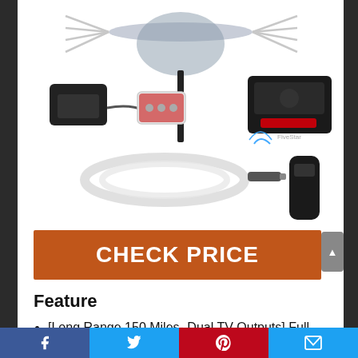[Figure (photo): Product photo showing an outdoor TV antenna kit with components: antenna, power adapter, coaxial splitter, cable, remote control, and signal finder box on white background]
CHECK PRICE
Feature
[Long Range 150 Miles- Dual TV Outputs] Full band DTV/VHF/UHF receiver operation frequency 45-
Facebook | Twitter | Pinterest | Email